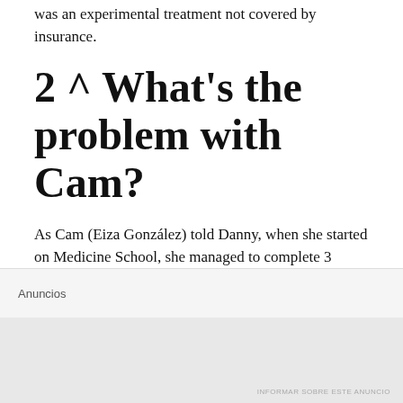was an experimental treatment not covered by insurance.
2 ^ What's the problem with Cam?
As Cam (Eiza González) told Danny, when she started on Medicine School, she managed to complete 3 years, after which she started using. She lost everything and once she tried to get her life back, the conviction that she should pay for ruining her own life prevented her from having meaningful relationships, like the one she had with Collin Waters. Cam is aware of this issue, because within
Anuncios